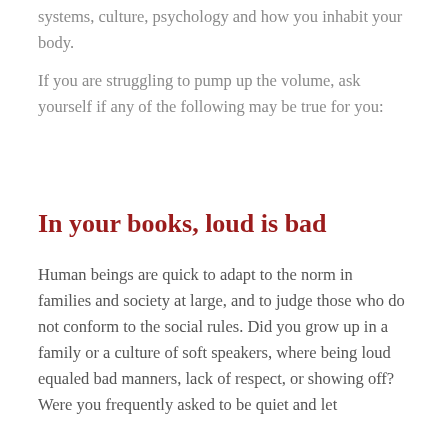systems, culture, psychology and how you inhabit your body.
If you are struggling to pump up the volume, ask yourself if any of the following may be true for you:
In your books, loud is bad
Human beings are quick to adapt to the norm in families and society at large, and to judge those who do not conform to the social rules. Did you grow up in a family or a culture of soft speakers, where being loud equaled bad manners, lack of respect, or showing off? Were you frequently asked to be quiet and let